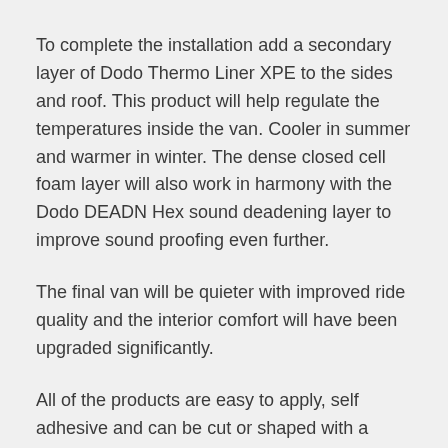To complete the installation add a secondary layer of Dodo Thermo Liner XPE to the sides and roof. This product will help regulate the temperatures inside the van. Cooler in summer and warmer in winter. The dense closed cell foam layer will also work in harmony with the Dodo DEADN Hex sound deadening layer to improve sound proofing even further.
The final van will be quieter with improved ride quality and the interior comfort will have been upgraded significantly.
All of the products are easy to apply, self adhesive and can be cut or shaped with a sharp knife. The products are designed specifically for automotive use and therefore are fire safety tested to ISO3795 and will not absorb